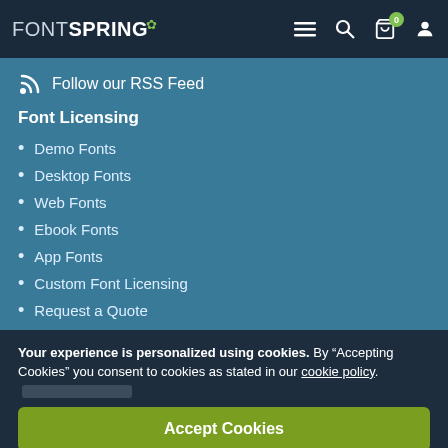FONTSPRING navigation bar with menu, search, cart (0), and user icons
Follow our RSS Feed
Font Licensing
Demo Fonts
Desktop Fonts
Web Fonts
Ebook Fonts
App Fonts
Custom Font Licensing
Request a Quote
Worry-Free Guarantee
Your experience is personalized using cookies. By “Accepting Cookies” you consent to cookies as stated in our cookie policy.
Accept Cookies